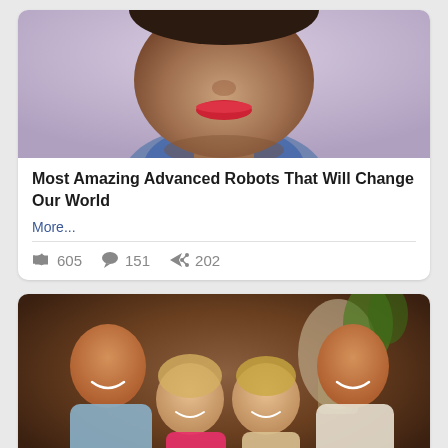[Figure (photo): Close-up photo of a person's face (robot or mannequin) with red lips, brown skin, blurred background — top portion of a social media card]
Most Amazing Advanced Robots That Will Change Our World
More...
605  151  202
[Figure (photo): Group photo of four young people smiling — two men and two women — in a casual indoor setting]